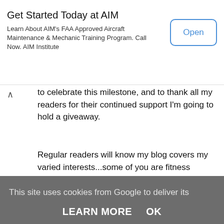[Figure (screenshot): Advertisement banner for AIM Institute with title 'Get Started Today at AIM', body text, and an Open button]
to celebrate this milestone, and to thank all my readers for their continued support I'm going to hold a giveaway.
Regular readers will know my blog covers my varied interests...some of you are fitness fanatics following me on The Wag Doll Protocol quest to improve fitness and tone up. Others are crafty types and
This site uses cookies from Google to deliver its services and to analyze traffic. Your IP address and user-agent are shared with Google along with performance and security metrics to ensure quality of service, generate usage statistics, and to detect and address abuse.
LEARN MORE   OK